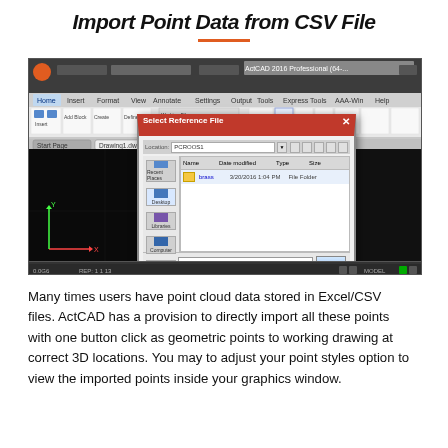Import Point Data from CSV File
[Figure (screenshot): Screenshot of ActCAD software showing the 'Select Reference File' dialog box open, with a Windows file browser dialog for selecting CSV files. The AutoCAD-like interface shows toolbars, ribbon, and command line at bottom.]
Many times users have point cloud data stored in Excel/CSV files. ActCAD has a provision to directly import all these points with one button click as geometric points to working drawing at correct 3D locations. You may to adjust your point styles option to view the imported points inside your graphics window.